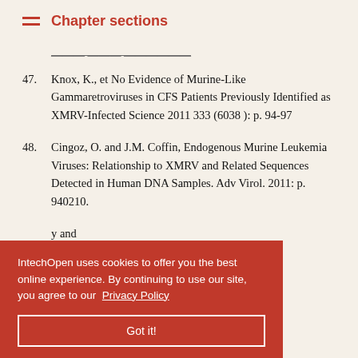Chapter sections
——— (partial reference, struck through)
47. Knox, K., et No Evidence of Murine-Like Gammaretroviruses in CFS Patients Previously Identified as XMRV-Infected Science 2011 333 (6038 ): p. 94-97
48. Cingoz, O. and J.M. Coffin, Endogenous Murine Leukemia Viruses: Relationship to XMRV and Related Sequences Detected in Human DNA Samples. Adv Virol. 2011: p. 940210.
...y and Adv Virol, ...state cancer[mdash]a final perspective. Nature
IntechOpen uses cookies to offer you the best online experience. By continuing to use our site, you agree to our Privacy Policy
Got it!